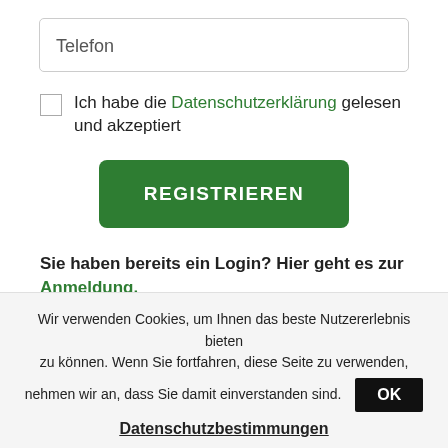Telefon
Ich habe die Datenschutzerklärung gelesen und akzeptiert
REGISTRIEREN
Sie haben bereits ein Login? Hier geht es zur Anmeldung.
Wir verwenden Cookies, um Ihnen das beste Nutzererlebnis bieten zu können. Wenn Sie fortfahren, diese Seite zu verwenden, nehmen wir an, dass Sie damit einverstanden sind. OK
Datenschutzbestimmungen